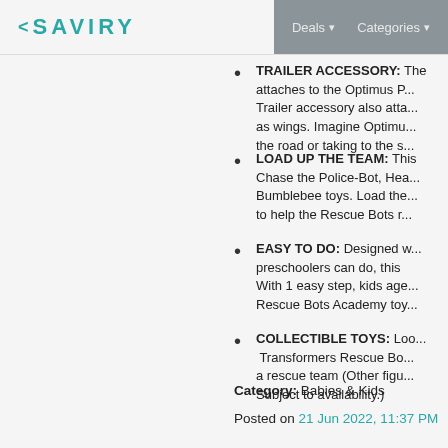< SAVIRY   Deals ▾   Categories ▾
TRAILER ACCESSORY: The attaches to the Optimus P... Trailer accessory also atta... as wings. Imagine Optimu... the road or taking to the s...
LOAD UP THE TEAM: This Chase the Police-Bot, Hea... Bumblebee toys. Load the... to help the Rescue Bots r...
EASY TO DO: Designed w... preschoolers can do, this With 1 easy step, kids age... Rescue Bots Academy toy...
COLLECTIBLE TOYS: Loo... Transformers Rescue Bo... a rescue team (Other figu... Subject to availability.)
Category: Babies & Kids
Posted on 21 Jun 2022, 11:37 PM